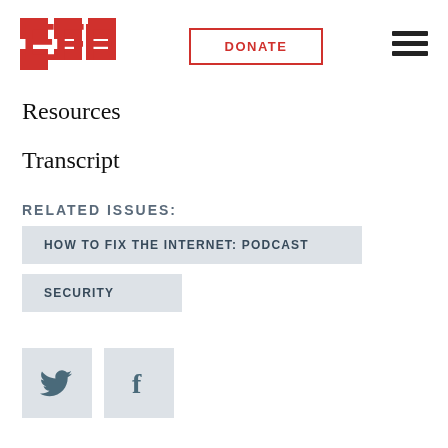[Figure (logo): EFF (Electronic Frontier Foundation) logo in red with stylized letters]
[Figure (other): DONATE button with red border and red text]
[Figure (other): Hamburger menu icon (three horizontal lines)]
Resources
Transcript
RELATED ISSUES:
HOW TO FIX THE INTERNET: PODCAST
SECURITY
[Figure (other): Twitter bird icon in a light gray square button]
[Figure (other): Facebook f icon in a light gray square button]